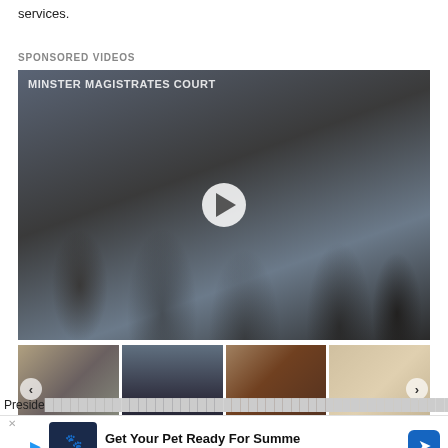services.
SPONSORED VIDEOS
[Figure (photo): Video thumbnail showing people outside Westminster Magistrates Court with a play button overlay]
[Figure (photo): Row of four smaller video thumbnails below the main video, with previous/next navigation arrows and a blue bell/notification button overlay]
Preside...ghe as prime m...
[Figure (infographic): Petco advertisement banner: 'Get Your Pet Ready For Summe' / Petco with blue play and arrow buttons]